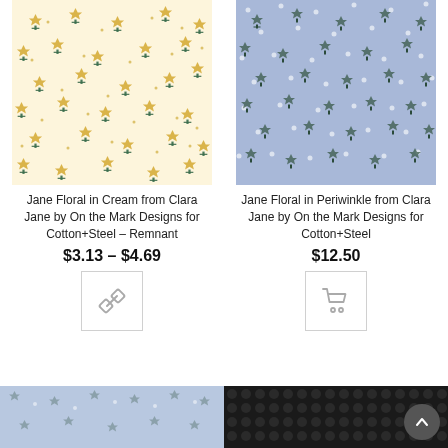[Figure (photo): Jane Floral fabric in Cream colorway with scattered small floral motifs on cream/ivory background]
Jane Floral in Cream from Clara Jane by On the Mark Designs for Cotton+Steel – Remnant
$3.13 – $4.69
[Figure (illustration): Link/chain icon button]
[Figure (photo): Jane Floral fabric in Periwinkle colorway with scattered small floral motifs on blue background with white dots]
Jane Floral in Periwinkle from Clara Jane by On the Mark Designs for Cotton+Steel
$12.50
[Figure (illustration): Shopping cart icon button]
[Figure (photo): Partial view of blue floral fabric (bottom strip)]
[Figure (photo): Partial view of dark fabric with polka dot pattern (bottom strip)]